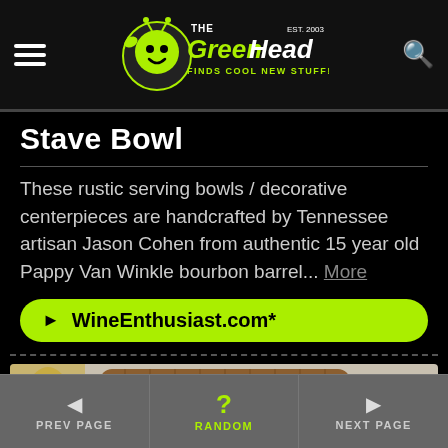The Green Head - Finds Cool New Stuff!
Stave Bowl
These rustic serving bowls / decorative centerpieces are handcrafted by Tennessee artisan Jason Cohen from authentic 15 year old Pappy Van Winkle bourbon barrel... More
► WineEnthusiast.com*
[Figure (photo): Photo of a wooden bourbon barrel, partially visible, showing the wooden staves and metal bands around the barrel.]
◄ PREV PAGE   ? RANDOM   ► NEXT PAGE